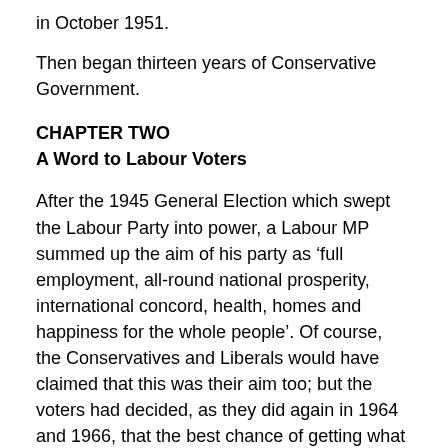in October 1951.
Then began thirteen years of Conservative Government.
CHAPTER TWO
A Word to Labour Voters
After the 1945 General Election which swept the Labour Party into power, a Labour MP summed up the aim of his party as ‘full employment, all-round national prosperity, international concord, health, homes and happiness for the whole people’. Of course, the Conservatives and Liberals would have claimed that this was their aim too; but the voters had decided, as they did again in 1964 and 1966, that the best chance of getting what they wanted was from a Labour Government.
Why then are so many Labour voters disappointed? is there a swing to the other parties at by-elections? do more and more people not trouble to vote? Why do so